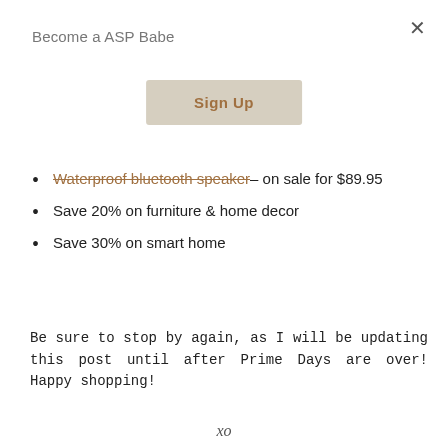Become a ASP Babe
[Figure (other): Sign Up button with beige/tan background and brown text]
Waterproof bluetooth speaker– on sale for $89.95
Save 20% on furniture & home decor
Save 30% on smart home
Be sure to stop by again, as I will be updating this post until after Prime Days are over! Happy shopping!
xo